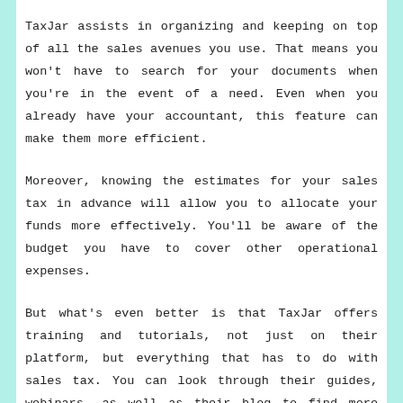TaxJar assists in organizing and keeping on top of all the sales avenues you use. That means you won't have to search for your documents when you're in the event of a need. Even when you already have your accountant, this feature can make them more efficient.
Moreover, knowing the estimates for your sales tax in advance will allow you to allocate your funds more effectively. You'll be aware of the budget you have to cover other operational expenses.
But what's even better is that TaxJar offers training and tutorials, not just on their platform, but everything that has to do with sales tax. You can look through their guides, webinars, as well as their blog to find more details. In addition, their sales tax calculator should be beneficial when you're planning to